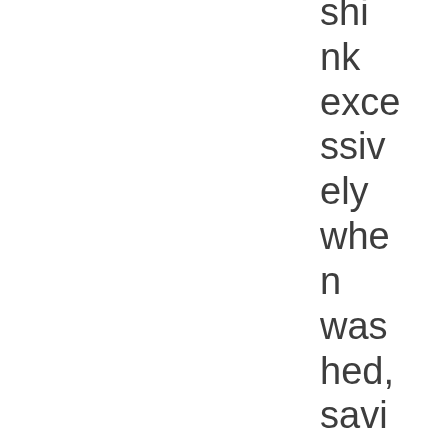shrink excessively when washed, saving you the stre